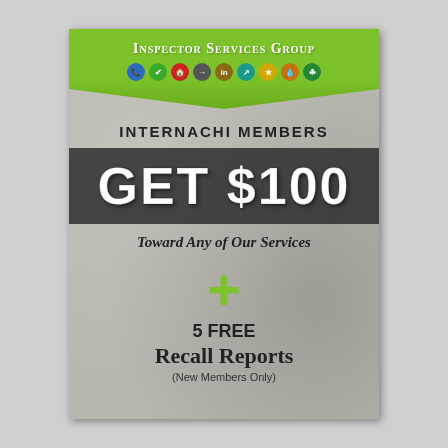[Figure (logo): Inspector Services Group logo with green banner and colored service icons]
INTERNACHI MEMBERS
GET $100
Toward Any of Our Services
+ 5 FREE Recall Reports (New Members Only)